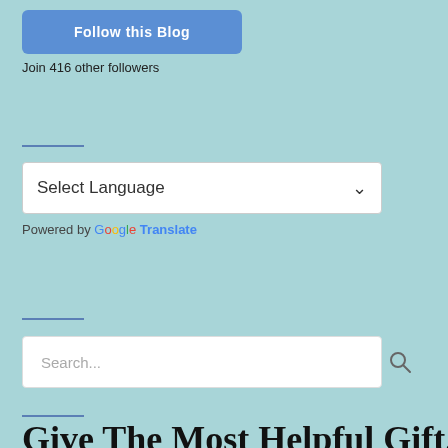[Figure (other): Blue rounded button labeled 'Follow this Blog']
Join 416 other followers
Select Language (dropdown with arrow)
Powered by Google Translate
Search...
Give The Most Helpful Gift...